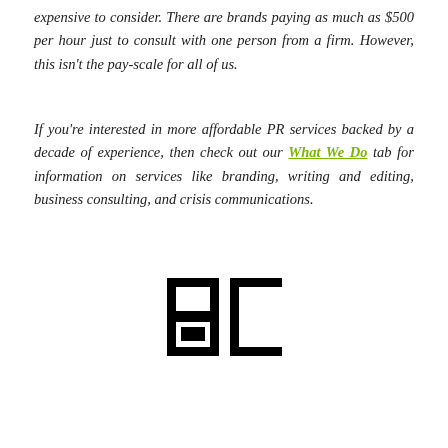expensive to consider. There are brands paying as much as $500 per hour just to consult with one person from a firm. However, this isn't the pay-scale for all of us.
If you're interested in more affordable PR services backed by a decade of experience, then check out our What We Do tab for information on services like branding, writing and editing, business consulting, and crisis communications.
[Figure (logo): A bold black logo consisting of two block letters 'a' and 'c' in a chunky, squared typeface]